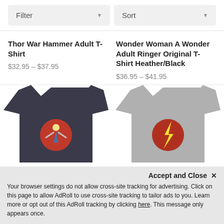Filter ▼
Sort ▼
Thor War Hammer Adult T-Shirt
$32.95 – $37.95
Wonder Woman A Wonder Adult Ringer Original T-Shirt Heather/Black
$36.95 – $41.95
[Figure (photo): Dark navy t-shirt with Wonder Woman graphic (red circle with figure)]
[Figure (photo): Gray t-shirt with lightning bolt graphic on red circle]
Accept and Close ✕
Your browser settings do not allow cross-site tracking for advertising. Click on this page to allow AdRoll to use cross-site tracking to tailor ads to you. Learn more or opt out of this AdRoll tracking by clicking here. This message only appears once.